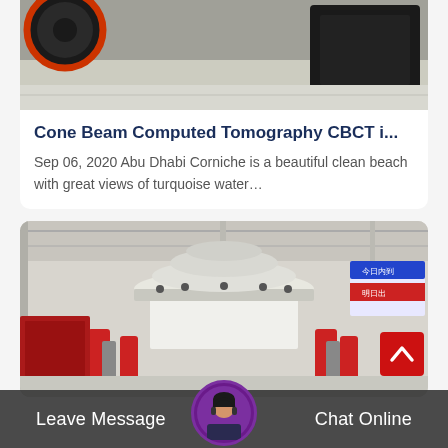[Figure (photo): Top portion of industrial machinery on a concrete floor, partially visible at top of page]
Cone Beam Computed Tomography CBCT i…
Sep 06, 2020 Abu Dhabi Corniche is a beautiful clean beach with great views of turquoise water…
[Figure (photo): Industrial cone crusher machine in a factory warehouse with red and white components, Chinese signage visible in background]
Leave Message
Chat Online